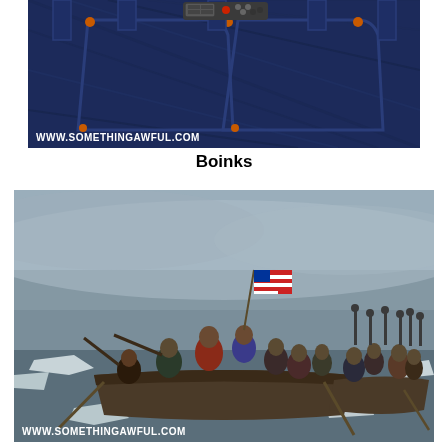[Figure (photo): Close-up photo of dark blue denim jeans back pockets with a NES game controller embedded/photoshopped into the waistband area. Watermark reads WWW.SOMETHINGAWFUL.COM]
Boinks
[Figure (photo): Parody of the famous painting 'Washington Crossing the Delaware' with faces replaced by Asian celebrities/figures in a boat crossing icy water with an American flag. Watermark reads WWW.SOMETHINGAWFUL.COM]